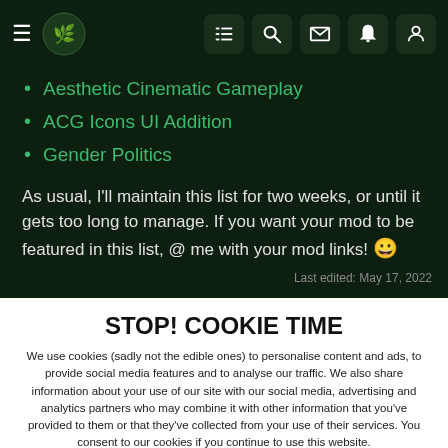Navigation bar with hamburger menu, logo, and icons
Aesthetic Cinematic Gameplay
ACG Icons UI Addition
Gender Politics
As usual, I'll maintain this list for two weeks, or until it gets too long to manage. If you want your mod to be featured in this list, @ me with your mod links! 😀
Last edited: May 17, 2022
STOP! COOKIE TIME
We use cookies (sadly not the edible ones) to personalise content and ads, to provide social media features and to analyse our traffic. We also share information about your use of our site with our social media, advertising and analytics partners who may combine it with other information that you've provided to them or that they've collected from your use of their services. You consent to our cookies if you continue to use this website.
✓ ACCEPT